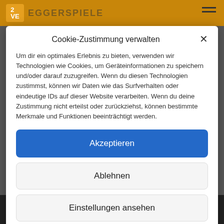[Figure (screenshot): Background website header with orange/brown navigation bar and hamburger menu icon]
Cookie-Zustimmung verwalten
Um dir ein optimales Erlebnis zu bieten, verwenden wir Technologien wie Cookies, um Geräteinformationen zu speichern und/oder darauf zuzugreifen. Wenn du diesen Technologien zustimmst, können wir Daten wie das Surfverhalten oder eindeutige IDs auf dieser Website verarbeiten. Wenn du deine Zustimmung nicht erteilst oder zurückziehst, können bestimmte Merkmale und Funktionen beeinträchtigt werden.
Akzeptieren
Ablehnen
Einstellungen ansehen
data protection   imprint